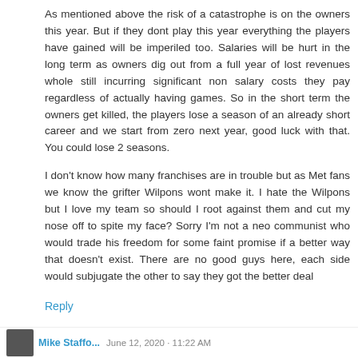As mentioned above the risk of a catastrophe is on the owners this year. But if they dont play this year everything the players have gained will be imperiled too. Salaries will be hurt in the long term as owners dig out from a full year of lost revenues whole still incurring significant non salary costs they pay regardless of actually having games. So in the short term the owners get killed, the players lose a season of an already short career and we start from zero next year, good luck with that. You could lose 2 seasons.
I don't know how many franchises are in trouble but as Met fans we know the grifter Wilpons wont make it. I hate the Wilpons but I love my team so should I root against them and cut my nose off to spite my face? Sorry I'm not a neo communist who would trade his freedom for some faint promise if a better way that doesn't exist. There are no good guys here, each side would subjugate the other to say they got the better deal
Reply